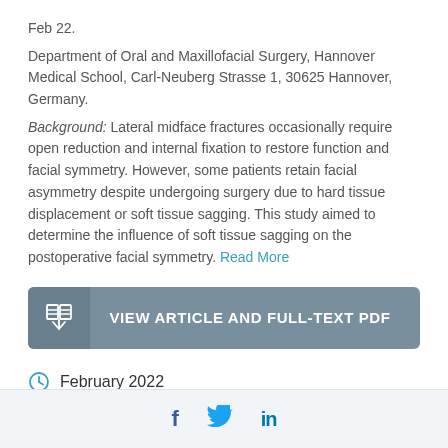Feb 22.
Department of Oral and Maxillofacial Surgery, Hannover Medical School, Carl-Neuberg Strasse 1, 30625 Hannover, Germany.
Background: Lateral midface fractures occasionally require open reduction and internal fixation to restore function and facial symmetry. However, some patients retain facial asymmetry despite undergoing surgery due to hard tissue displacement or soft tissue sagging. This study aimed to determine the influence of soft tissue sagging on the postoperative facial symmetry. Read More
VIEW ARTICLE AND FULL-TEXT PDF
February 2022
Similar Publications